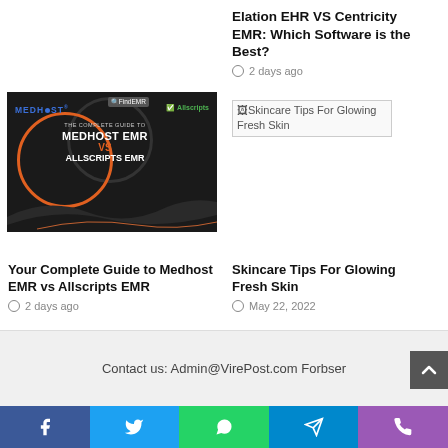Elation EHR VS Centricity EMR: Which Software is the Best?
2 days ago
[Figure (photo): Medhost EMR vs Allscripts EMR promotional graphic with circular design elements on dark background]
[Figure (photo): Broken image placeholder for Skincare Tips For Glowing Fresh Skin]
Your Complete Guide to Medhost EMR vs Allscripts EMR
2 days ago
Skincare Tips For Glowing Fresh Skin
May 22, 2022
Contact us: Admin@VirePost.com Forbser